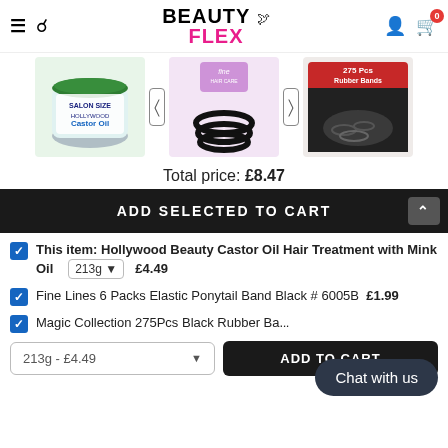Beauty Flex
[Figure (photo): Product carousel showing three items: Hollywood Beauty Castor Oil jar, Fine Hair Care elastic ponytail bands, and Magic Collection 275pcs Black Rubber Bands packaging]
Total price: £8.47
ADD SELECTED TO CART
This item: Hollywood Beauty Castor Oil Hair Treatment with Mink Oil  213g  £4.49
Fine Lines 6 Packs Elastic Ponytail Band Black # 6005B  £1.99
Magic Collection 275Pcs Black Rubber Ba... £...99
213g - £4.49   ADD TO CART
Chat with us